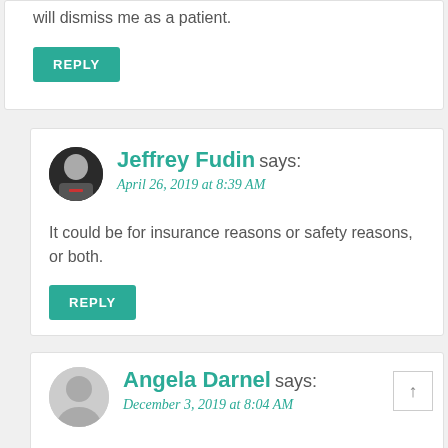will dismiss me as a patient.
REPLY
Jeffrey Fudin says:
April 26, 2019 at 8:39 AM
It could be for insurance reasons or safety reasons, or both.
REPLY
Angela Darnel says:
December 3, 2019 at 8:04 AM
I just started on Extampza 9mg . took it to my individually owned